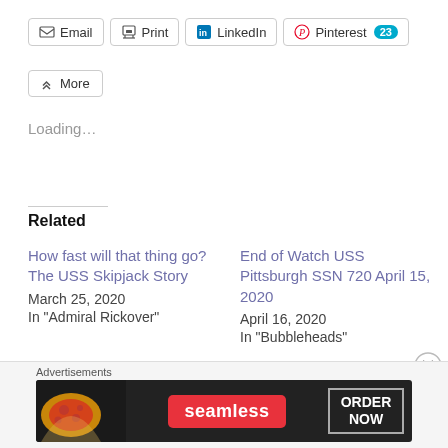[Figure (screenshot): Social share buttons: Email, Print, LinkedIn, Pinterest (23 count badge), More]
Loading...
Related
How fast will that thing go? The USS Skipjack Story
March 25, 2020
In "Admiral Rickover"
End of Watch USS Pittsburgh SSN 720 April 15, 2020
April 16, 2020
In "Bubbleheads"
We have the watch –
[Figure (screenshot): Advertisement banner: Seamless pizza ordering ad with 'ORDER NOW' button]